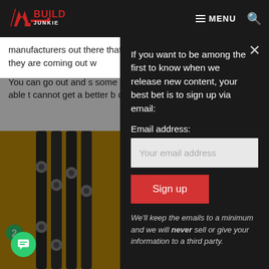AR Build Junkie | MENU [search]
manufacturers out there that put a lot into what they do, and they are coming out w[ith...]
You can go out and s[ee] some of what we're d[oing,] not going to be able t[o...] cannot get a better b[...] does not exist on the [...]
[Figure (photo): Close-up photo of metal gun parts/barrels on an orange background]
If you want to be among the first to know when we release new content, your best bet is to sign up via email:
Email address:
Your email address
Sign up
We'll keep the emails to a minimum and we will never sell or give your information to a third party.